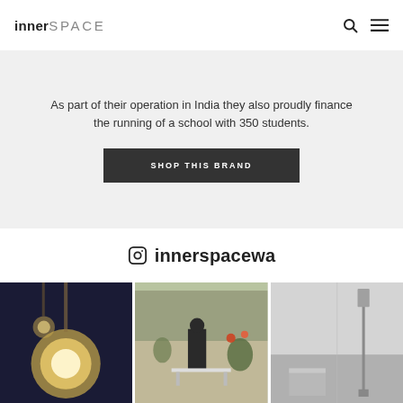inner SPACE
As part of their operation in India they also proudly finance the running of a school with 350 students.
SHOP THIS BRAND
innerspacewa
[Figure (photo): Three Instagram photos: left shows pendant globe lights, center shows a person standing outdoors, right shows a minimalist floor lamp]
[Figure (photo): Center Instagram photo: person standing in an outdoor courtyard with trees and plants]
[Figure (photo): Right Instagram photo: minimalist grey room with a tall slim floor lamp]